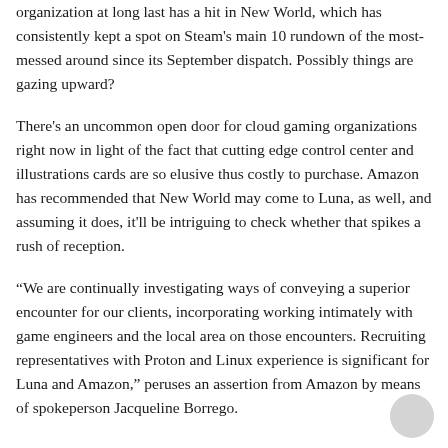organization at long last has a hit in New World, which has consistently kept a spot on Steam's main 10 rundown of the most-messed around since its September dispatch. Possibly things are gazing upward?
There's an uncommon open door for cloud gaming organizations right now in light of the fact that cutting edge control center and illustrations cards are so elusive thus costly to purchase. Amazon has recommended that New World may come to Luna, as well, and assuming it does, it'll be intriguing to check whether that spikes a rush of reception.
“We are continually investigating ways of conveying a superior encounter for our clients, incorporating working intimately with game engineers and the local area on those encounters. Recruiting representatives with Proton and Linux experience is significant for Luna and Amazon,” peruses an assertion from Amazon by means of spokeperson Jacqueline Borrego.